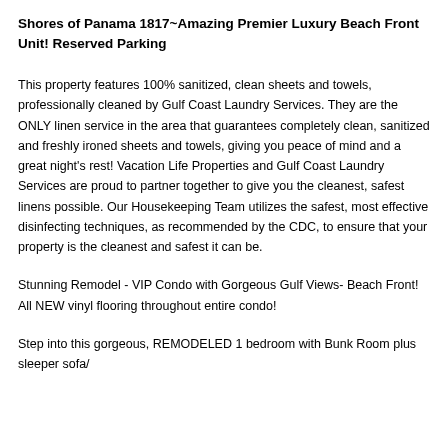Shores of Panama 1817~Amazing Premier Luxury Beach Front Unit! Reserved Parking
This property features 100% sanitized, clean sheets and towels, professionally cleaned by Gulf Coast Laundry Services. They are the ONLY linen service in the area that guarantees completely clean, sanitized and freshly ironed sheets and towels, giving you peace of mind and a great night's rest! Vacation Life Properties and Gulf Coast Laundry Services are proud to partner together to give you the cleanest, safest linens possible. Our Housekeeping Team utilizes the safest, most effective disinfecting techniques, as recommended by the CDC, to ensure that your property is the cleanest and safest it can be.
Stunning Remodel - VIP Condo with Gorgeous Gulf Views- Beach Front! All NEW vinyl flooring throughout entire condo!
Step into this gorgeous, REMODELED 1 bedroom with Bunk Room plus sleeper sofa/